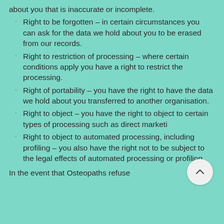about you that is inaccurate or incomplete.
Right to be forgotten – in certain circumstances you can ask for the data we hold about you to be erased from our records.
Right to restriction of processing – where certain conditions apply you have a right to restrict the processing.
Right of portability – you have the right to have the data we hold about you transferred to another organisation.
Right to object – you have the right to object to certain types of processing such as direct marketi…
Right to object to automated processing, including profiling – you also have the right not to be subject to the legal effects of automated processing or profiling.
In the event that Osteopaths refuse…